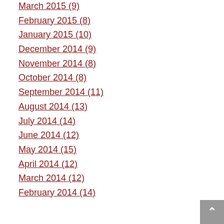March 2015 (9)
February 2015 (8)
January 2015 (10)
December 2014 (9)
November 2014 (8)
October 2014 (8)
September 2014 (11)
August 2014 (13)
July 2014 (14)
June 2014 (12)
May 2014 (15)
April 2014 (12)
March 2014 (12)
February 2014 (14)